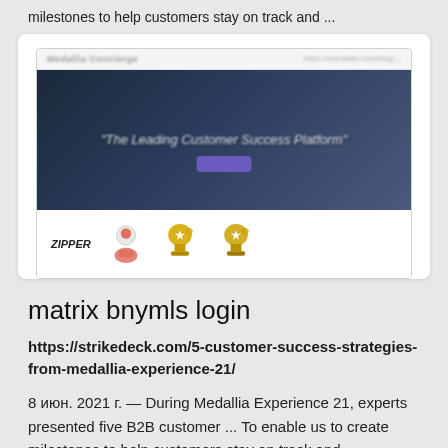milestones to help customers stay on track and ...
[Figure (screenshot): Screenshot of a website showing a hero banner with blurred header, a dark blue promotional banner with italic text and a purple button, and a footer row with a logo, person badge icon, and two trophy badges.]
matrix bnymls login
https://strikedeck.com/5-customer-success-strategies-from-medallia-experience-21/
8 июн. 2021 г. — During Medallia Experience 21, experts presented five B2B customer ... To enable us to create milestones to help customers stay on track and ...